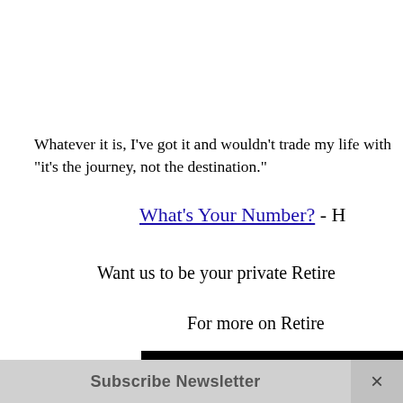Whatever it is, I've got it and wouldn't trade my life with "it's the journey, not the destination."
What's Your Number? - H
Want us to be your private Retire
For more on Retire
[Figure (screenshot): Website screenshot showing 'Visit o' in red bold italic text on a black background, with book cover thumbnails below including nature, blue cover, beach, and gray covers. One visible title reads 'The Adventurer's Guide' and another shows 'Your Retirement Drea'.]
Subscribe Newsletter
×